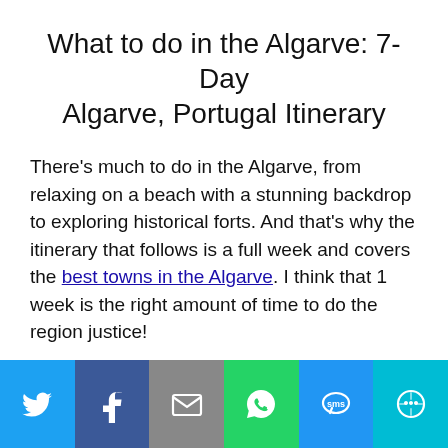What to do in the Algarve: 7-Day Algarve, Portugal Itinerary
There’s much to do in the Algarve, from relaxing on a beach with a stunning backdrop to exploring historical forts. And that’s why the itinerary that follows is a full week and covers the best towns in the Algarve. I think that 1 week is the right amount of time to do the region justice!
Algarve Itinerary Day #1: Faro
[Figure (infographic): Social sharing bar with 6 buttons: Twitter (blue), Facebook (dark blue), Email (gray), WhatsApp (green), SMS (blue), More (teal). Each button shows a white icon.]